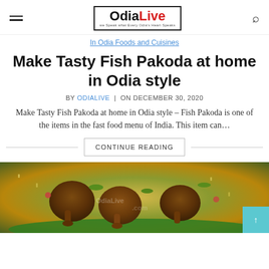OdiaLive
In Odia Foods and Cuisines
Make Tasty Fish Pakoda at home in Odia style
BY ODIALIVE | ON DECEMBER 30, 2020
Make Tasty Fish Pakoda at home in Odia style – Fish Pakoda is one of the items in the fast food menu of India. This item can…
CONTINUE READING
[Figure (photo): A green bowl filled with rice and grilled chicken drumsticks garnished with herbs and vegetables]